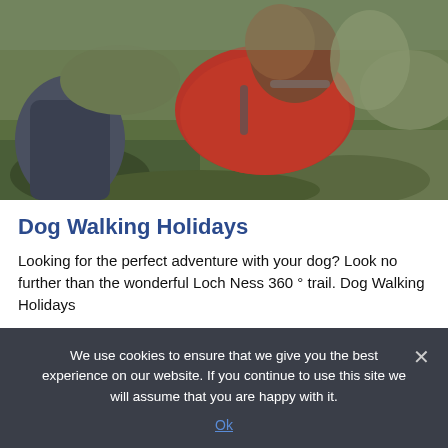[Figure (photo): A dog wearing a red/pink jacket or coat outdoors on rocky terrain, with a person crouching beside it. Green mossy rocks visible in background.]
Dog Walking Holidays
Looking for the perfect adventure with your dog? Look no further than the wonderful Loch Ness 360 ° trail. Dog Walking Holidays
Read more >
We use cookies to ensure that we give you the best experience on our website. If you continue to use this site we will assume that you are happy with it.
Ok